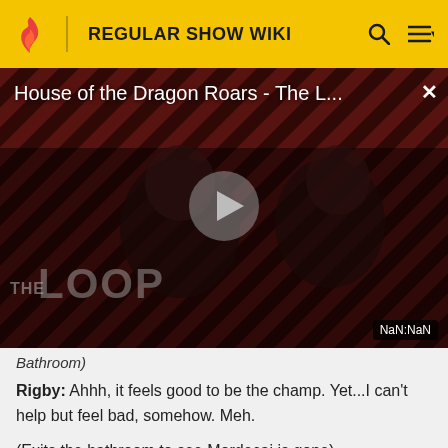REGULAR SHOW WIKI
[Figure (screenshot): Video player showing 'House of the Dragon Roars - The L...' with a dark diagonal striped background, two silhouetted figures, a play button, THE LOOP logo, and NaN:NaN timestamp badge. A close (X) button is in the top right corner.]
Bathroom)
Rigby: Ahhh, it feels good to be the champ. Yet...I can't help but feel bad, somehow. Meh.
(Exits the bathroom to see Mordecai is gone)